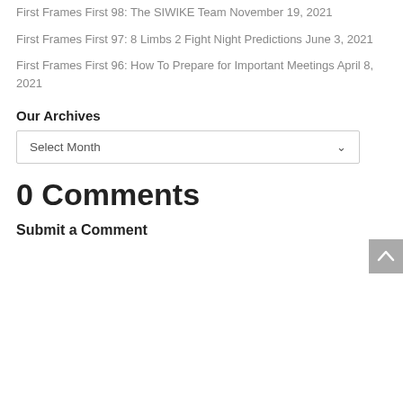First Frames First 98: The SIWIKE Team November 19, 2021
First Frames First 97: 8 Limbs 2 Fight Night Predictions June 3, 2021
First Frames First 96: How To Prepare for Important Meetings April 8, 2021
Our Archives
Select Month
0 Comments
Submit a Comment